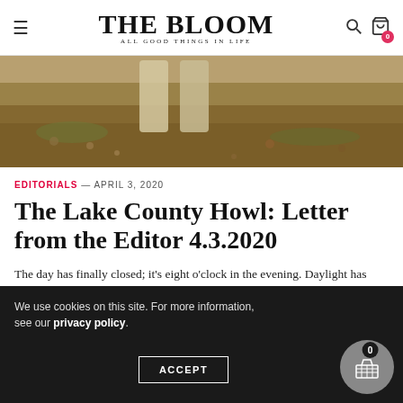THE BLOOM — ALL GOOD THINGS IN LIFE
[Figure (photo): Outdoor photo showing boots/feet standing on grass and autumn leaves ground]
EDITORIALS — APRIL 3, 2020
The Lake County Howl: Letter from the Editor 4.3.2020
The day has finally closed; it's eight o'clock in the evening. Daylight has settled into twilight, and the sky, purple-grey, slowly dims to black. Then, off in the distance, a loud, lingering noise rises from the
We use cookies on this site. For more information, see our privacy policy.
ACCEPT